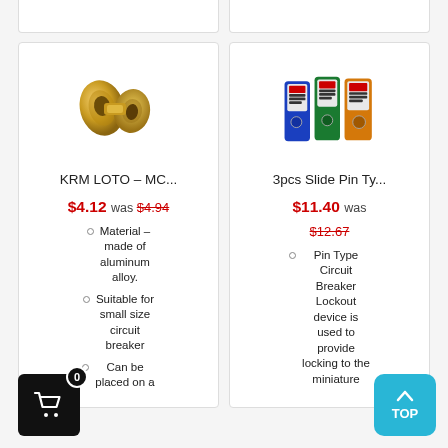[Figure (photo): Brass/gold colored aluminum alloy clip/clamp product (KRM LOTO – MC...)]
KRM LOTO – MC...
$4.12 was $4.94
Material – made of aluminum alloy.
Suitable for small size circuit breaker
Can be placed on a
[Figure (photo): Three pin type circuit breaker lockout devices in blue, green, and orange colors]
3pcs Slide Pin Ty...
$11.40 was $12.67
Pin Type Circuit Breaker Lockout device is used to provide locking to the miniature